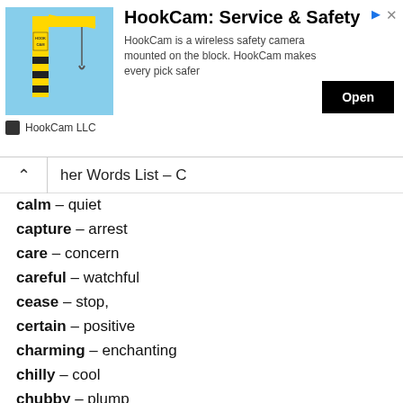[Figure (screenshot): HookCam advertisement banner with crane image, title, description, and Open button]
her Words List – C
calm – quiet
capture – arrest
care – concern
careful – watchful
cease – stop,
certain – positive
charming – enchanting
chilly – cool
chubby – plump
comical – amusing
complex – complicated
competent – capable